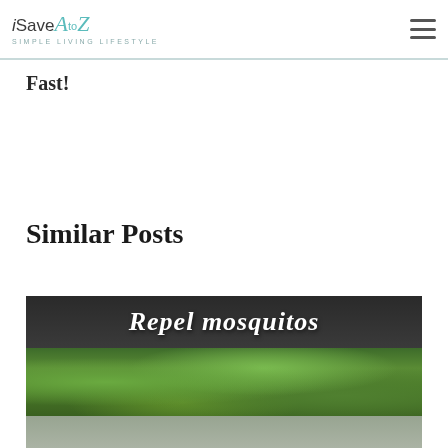iSaveAtoZ — SIMPLE LIVING LIFESTYLE
Fast!
Similar Posts
[Figure (photo): Cropped blog post thumbnail image showing the text 'Repel Mosquitos' in decorative italic script over a dark background, with a lower section showing green leafy plants/ferns]